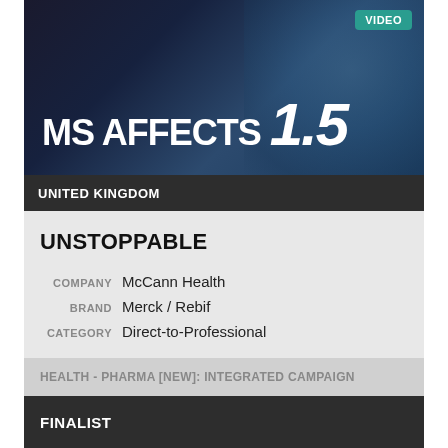[Figure (photo): Dark video thumbnail showing 'MS AFFECTS 1.5' text in large white bold/italic font, with a shadowy face in the background. A teal VIDEO badge is in the top right corner.]
UNITED KINGDOM
UNSTOPPABLE
COMPANY  McCann Health
BRAND  Merck / Rebif
CATEGORY  Direct-to-Professional
HEALTH - PHARMA [NEW]: INTEGRATED CAMPAIGN
FINALIST